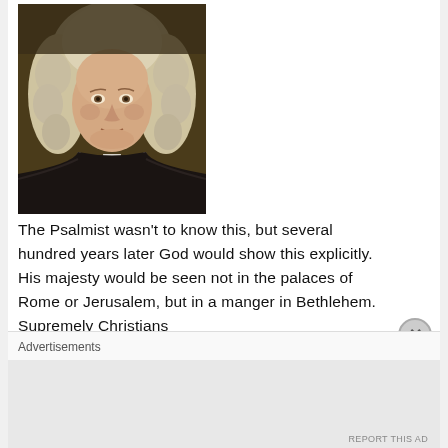[Figure (photo): Portrait painting of a man in 18th-century clerical attire with white curled wig and white collar against dark background]
The Psalmist wasn't to know this, but several hundred years later God would show this explicitly. His majesty would be seen not in the palaces of Rome or Jerusalem, but in a manger in Bethlehem. Supremely Christians
Advertisements